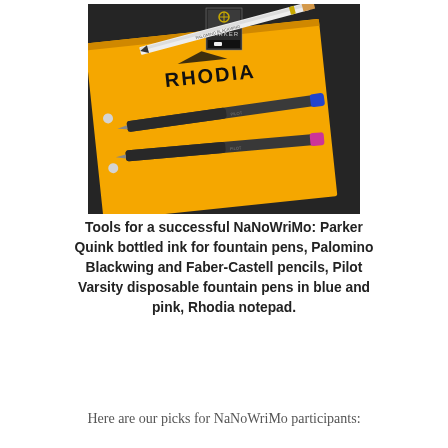[Figure (photo): A photo of writing tools on a Rhodia notepad: Parker Quink bottled ink, Palomino Blackwing and Faber-Castell pencils, two Pilot Varsity disposable fountain pens (blue and pink caps), all resting on an orange Rhodia notepad on a dark surface.]
Tools for a successful NaNoWriMo: Parker Quink bottled ink for fountain pens, Palomino Blackwing and Faber-Castell pencils, Pilot Varsity disposable fountain pens in blue and pink, Rhodia notepad.
Here are our picks for NaNoWriMo participants: